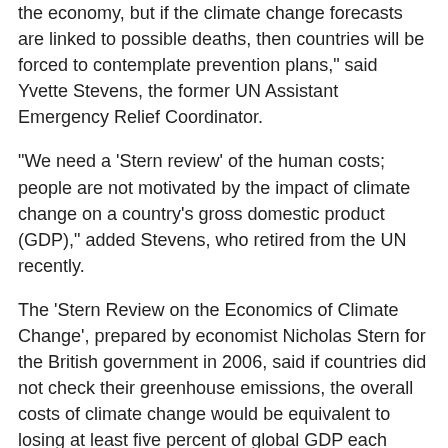the economy, but if the climate change forecasts are linked to possible deaths, then countries will be forced to contemplate prevention plans," said Yvette Stevens, the former UN Assistant Emergency Relief Coordinator.
"We need a 'Stern review' of the human costs; people are not motivated by the impact of climate change on a country's gross domestic product (GDP)," added Stevens, who retired from the UN recently.
The 'Stern Review on the Economics of Climate Change', prepared by economist Nicholas Stern for the British government in 2006, said if countries did not check their greenhouse emissions, the overall costs of climate change would be equivalent to losing at least five percent of global GDP each year. It calculated the cost of reducing emissions to avoid the worst impact of climate change at one percent of global GDP annually.
Climate change projections and forecasts so far have failed to move most countries to draft a national plan of action. Molly Hellmuth, a scientist with the United States-based International Research Institute for Climate and Society,